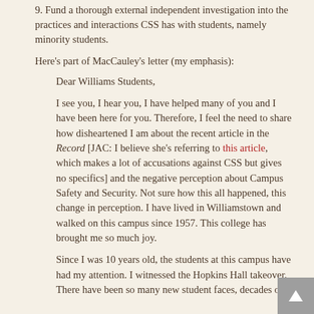9. Fund a thorough external independent investigation into the practices and interactions CSS has with students, namely minority students.
Here's part of MacCauley's letter (my emphasis):
Dear Williams Students,
I see you, I hear you, I have helped many of you and I have been here for you. Therefore, I feel the need to share how disheartened I am about the recent article in the Record [JAC: I believe she's referring to this article, which makes a lot of accusations against CSS but gives no specifics] and the negative perception about Campus Safety and Security. Not sure how this all happened, this change in perception. I have lived in Williamstown and walked on this campus since 1957. This college has brought me so much joy.
Since I was 10 years old, the students at this campus have had my attention. I witnessed the Hopkins Hall takeover. There have been so many new student faces, decades of